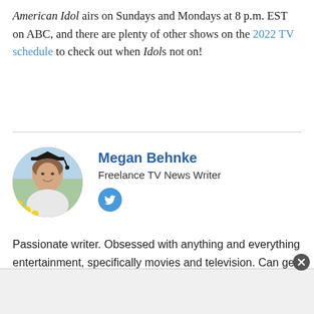American Idol airs on Sundays and Mondays at 8 p.m. EST on ABC, and there are plenty of other shows on the 2022 TV schedule to check out when Idol's not on!
[Figure (photo): Circular profile photo of Megan Behnke wearing graduation cap and gown with yellow flowers in background]
Megan Behnke
Freelance TV News Writer
[Figure (logo): Twitter bird icon in blue circle]
Passionate writer. Obsessed with anything and everything entertainment, specifically movies and television. Can get easily attached to fictional characters.